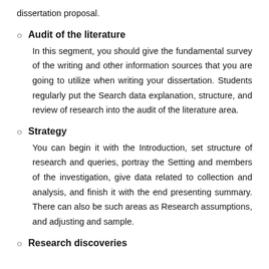dissertation proposal.
Audit of the literature
In this segment, you should give the fundamental survey of the writing and other information sources that you are going to utilize when writing your dissertation. Students regularly put the Search data explanation, structure, and review of research into the audit of the literature area.
Strategy
You can begin it with the Introduction, set structure of research and queries, portray the Setting and members of the investigation, give data related to collection and analysis, and finish it with the end presenting summary. There can also be such areas as Research assumptions, and adjusting and sample.
Research discoveries